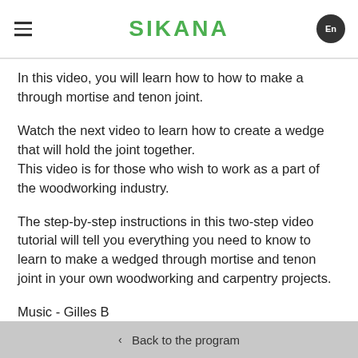SIKANA
In this video, you will learn how to how to make a through mortise and tenon joint.
Watch the next video to learn how to create a wedge that will hold the joint together.
This video is for those who wish to work as a part of the woodworking industry.
The step-by-step instructions in this two-step video tutorial will tell you everything you need to know to learn to make a wedged through mortise and tenon joint in your own woodworking and carpentry projects.
Music - Gilles B
0 comments
‹  Back to the program